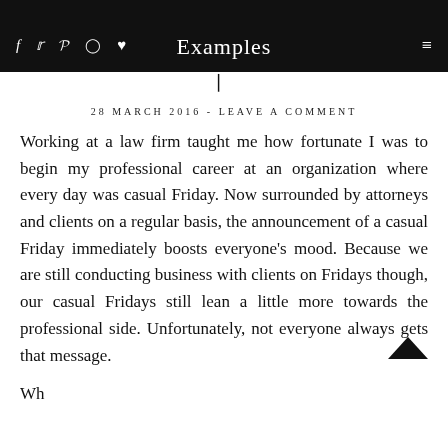Examples
28 MARCH 2016 - LEAVE A COMMENT
Working at a law firm taught me how fortunate I was to begin my professional career at an organization where every day was casual Friday. Now surrounded by attorneys and clients on a regular basis, the announcement of a casual Friday immediately boosts everyone's mood. Because we are still conducting business with clients on Fridays though, our casual Fridays still lean a little more towards the professional side. Unfortunately, not everyone always gets that message.
Wh...